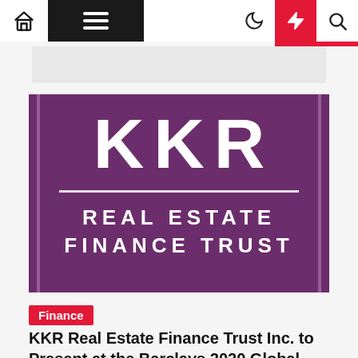Navigation bar with home, menu, moon, lightning, and search icons
[Figure (logo): KKR Real Estate Finance Trust logo — purple background with large white 'KKR' letters, horizontal divider line, and 'REAL ESTATE FINANCE TRUST' text in white]
Finance
KKR Real Estate Finance Trust Inc. to Present at the Barclays 2020 Global...